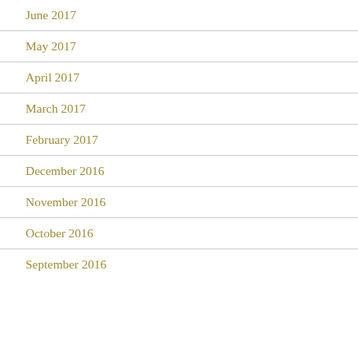June 2017
May 2017
April 2017
March 2017
February 2017
December 2016
November 2016
October 2016
September 2016